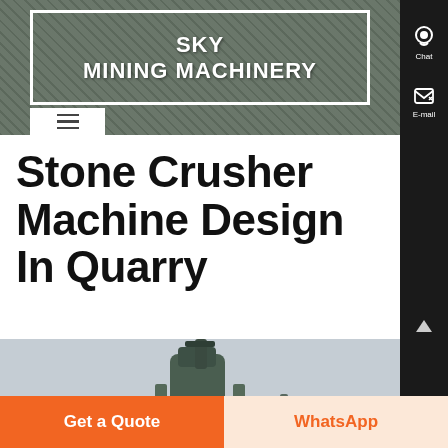[Figure (screenshot): Sky Mining Machinery website header with logo in white bordered box on industrial quarry background image, with hamburger menu icon below]
Stone Crusher Machine Design In Quarry
[Figure (photo): Stone crusher machine equipment in a quarry setting, showing industrial machinery against a light sky background]
[Figure (screenshot): Right sidebar with dark background showing Chat and E-mail contact icons]
Get a Quote
WhatsApp